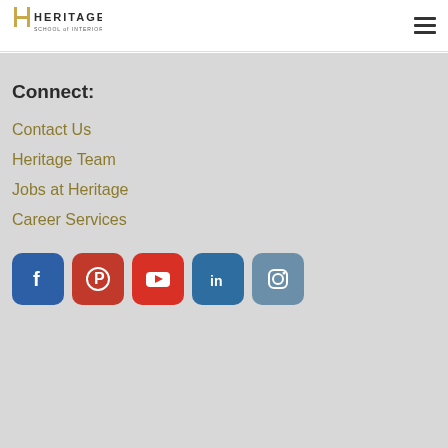[Figure (logo): Heritage School of Interior Design logo with golden H icon and text]
[Figure (other): Hamburger menu icon (three horizontal lines)]
Connect:
Contact Us
Heritage Team
Jobs at Heritage
Career Services
[Figure (other): Social media icons: Facebook, Pinterest, YouTube, LinkedIn, Instagram]